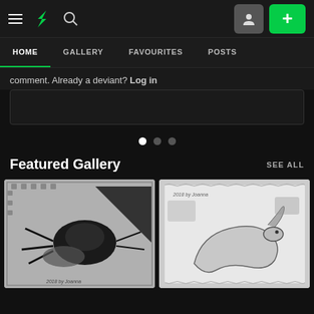DeviantArt navigation bar with hamburger menu, DA logo, search icon, profile button, and + button
HOME | GALLERY | FAVOURITES | POSTS
comment. Already a deviant? Log in
Featured Gallery   SEE ALL
[Figure (illustration): Pencil sketch of a beetle/insect with wings on a decorative stamp border background]
[Figure (illustration): Pencil sketch of an eel or sea creature on a postage stamp style background, signed 2018 by Joanna]